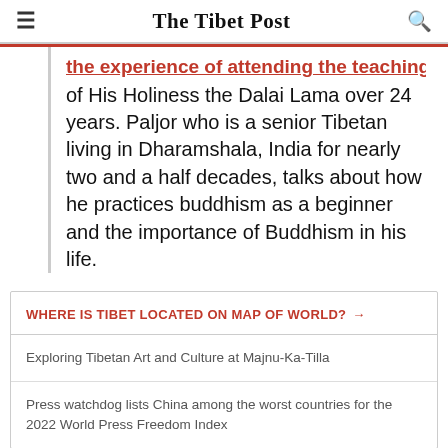≡  The Tibet Post  🔍
the experience of attending the teachings of His Holiness the Dalai Lama over 24 years. Paljor who is a senior Tibetan living in Dharamshala, India for nearly two and a half decades, talks about how he practices buddhism as a beginner and the importance of Buddhism in his life.
WHERE IS TIBET LOCATED ON MAP OF WORLD? →
Exploring Tibetan Art and Culture at Majnu-Ka-Tilla
Press watchdog lists China among the worst countries for the 2022 World Press Freedom Index